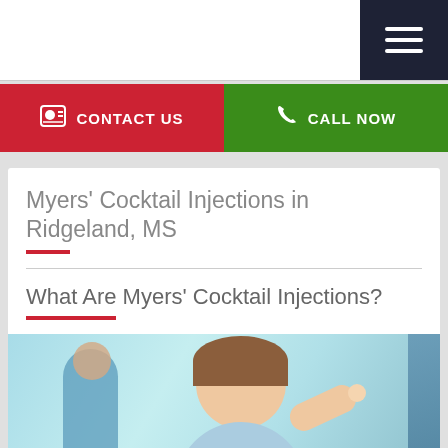[Figure (screenshot): Website navigation bar with white background and dark navy hamburger menu icon on the right]
[Figure (infographic): Two CTA buttons side by side: red 'CONTACT US' button with contact card icon on left, green 'CALL NOW' button with phone icon on right]
Myers' Cocktail Injections in Ridgeland, MS
What Are Myers' Cocktail Injections?
[Figure (photo): A nurse or medical professional in blue scrubs looking upward, with another medical professional visible in the background. Bright, clinical setting.]